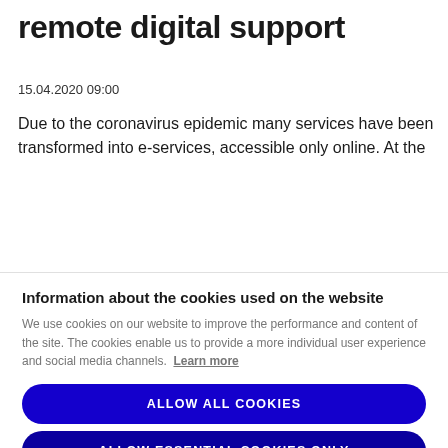remote digital support
15.04.2020 09:00
Due to the coronavirus epidemic many services have been transformed into e-services, accessible only online. At the
Information about the cookies used on the website
We use cookies on our website to improve the performance and content of the site. The cookies enable us to provide a more individual user experience and social media channels. Learn more
ALLOW ALL COOKIES
ALLOW ESSENTIAL COOKIES ONLY
COOKIE SETTINGS